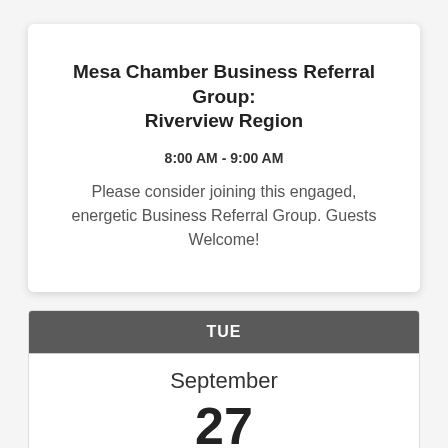Mesa Chamber Business Referral Group: Riverview Region
8:00 AM - 9:00 AM
Please consider joining this engaged, energetic Business Referral Group. Guests Welcome!
TUE
September
27